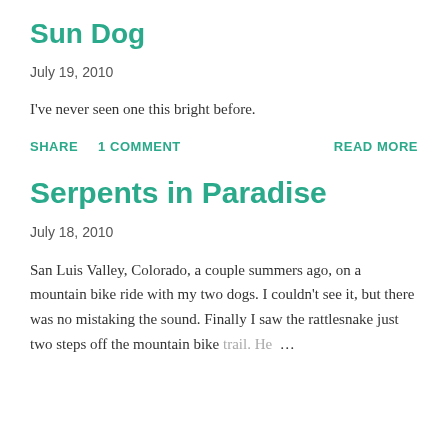Sun Dog
July 19, 2010
I've never seen one this bright before.
SHARE   1 COMMENT   READ MORE
Serpents in Paradise
July 18, 2010
San Luis Valley, Colorado, a couple summers ago, on a mountain bike ride with my two dogs. I couldn't see it, but there was no mistaking the sound. Finally I saw the rattlesnake just two steps off the mountain bike trail. He ...